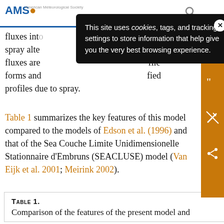AMS
[Figure (screenshot): Cookie consent popup overlay on AMS website reading: This site uses cookies, tags, and tracking settings to store information that help give you the very best browsing experience.]
fluxes int[o] ... the spray alte[rs] ... faci[litate] fluxes are ... [pro]file forms and ... [modi]fied profiles due to spray.
Table 1 summarizes the key features of this model compared to the models of Edson et al. (1996) and that of the Sea Couche Limite Unidimensionelle Stationnaire d'Embruns (SEACLUSE) model (Van Eijk et al. 2001; Meirink 2002).
Table 1. Comparison of the features of the present model and